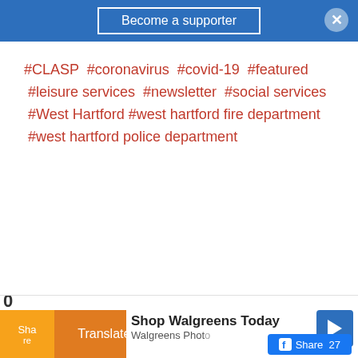Become a supporter
#CLASP #coronavirus #covid-19 #featured #leisure services #newsletter #social services #West Hartford #west hartford fire department #west hartford police department
0 Share | Translate » | Shop Walgreens Today | Walgreens Photo | Share 27